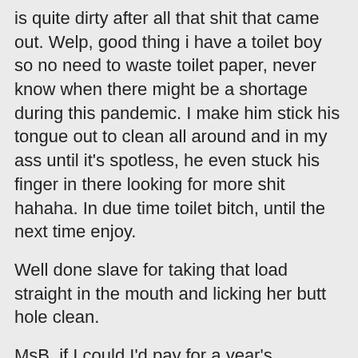is quite dirty after all that shit that came out. Welp, good thing i have a toilet boy so no need to waste toilet paper, never know when there might be a shortage during this pandemic. I make him stick his tongue out to clean all around and in my ass until it's spotless, he even stuck his finger in there looking for more shit hahaha. In due time toilet bitch, until the next time enjoy.
Well done slave for taking that load straight in the mouth and licking her butt hole clean.
MsB, if I could I'd pay for a year's subscription upfront.
I love the ass smacking, the wee, and the stand over camera view.
Videos are crisp, clear and HD to the last corn and veg. Bravollllllll